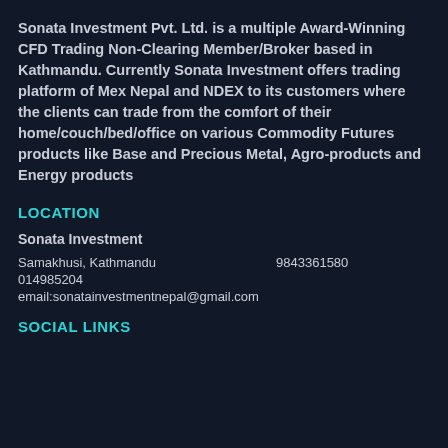Sonata Investment Pvt. Ltd. is a multiple Award-Winning CFD Trading Non-Clearing Member/Broker based in Kathmandu. Currently Sonata Investment offers trading platform of Mex Nepal and NDEX to its customers where the clients can trade from the comfort of their home/couch/bed/office on various Commodity Futures products like Base and Precious Metal, Agro-products and Energy products
LOCATION
Sonata Investment
Samakhusi, Kathmandu    9843361580
014985204
email:sonatainvestmentnepal@gmail.com
SOCIAL LINKS